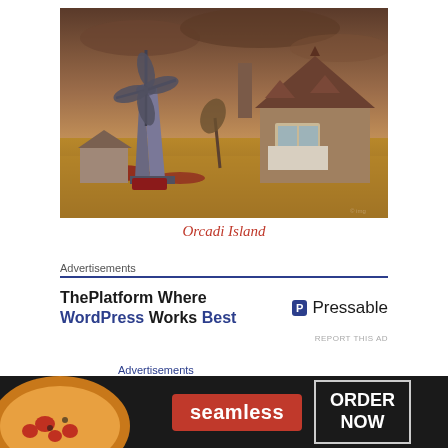[Figure (illustration): Digital illustration of an old farmstead on Orcadi Island: a windmill on the left side, an old gothic-style house with ornate peaked roof on the right, set against a stormy brownish sky with fields of wheat and wildflowers in the foreground.]
Orcadi Island
Advertisements
[Figure (other): Advertisement for Pressable: 'ThePlatform Where WordPress Works Best' with Pressable logo on the right.]
REPORT THIS AD
This is also a wonderfully photogenic place, richly
Advertisements
[Figure (other): Bottom advertisement banner for Seamless food delivery with pizza image on the left, Seamless red badge in the middle, and ORDER NOW button on the right.]